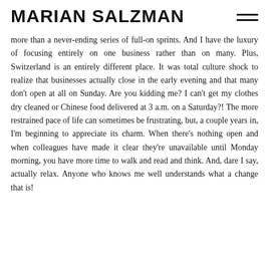MARIAN SALZMAN
more than a never-ending series of full-on sprints. And I have the luxury of focusing entirely on one business rather than on many. Plus, Switzerland is an entirely different place. It was total culture shock to realize that businesses actually close in the early evening and that many don't open at all on Sunday. Are you kidding me? I can't get my clothes dry cleaned or Chinese food delivered at 3 a.m. on a Saturday?! The more restrained pace of life can sometimes be frustrating, but, a couple years in, I'm beginning to appreciate its charm. When there's nothing open and when colleagues have made it clear they're unavailable until Monday morning, you have more time to walk and read and think. And, dare I say, actually relax. Anyone who knows me well understands what a change that is!